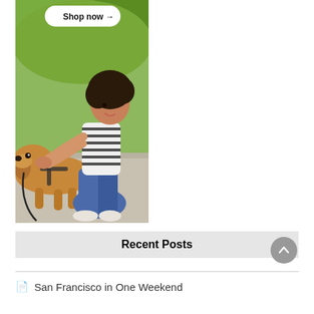[Figure (photo): A young woman with curly hair crouching down and petting a golden/yellow Labrador dog on a leash outdoors, with green trees in background. A 'Shop now →' button appears at the top of the image.]
Recent Posts
San Francisco in One Weekend